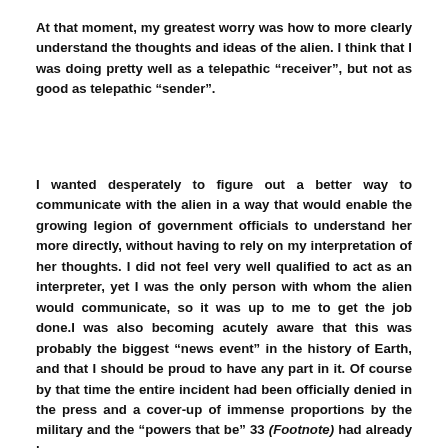At that moment, my greatest worry was how to more clearly understand the thoughts and ideas of the alien. I think that I was doing pretty well as a telepathic “receiver”, but not as good as telepathic “sender”.
I wanted desperately to figure out a better way to communicate with the alien in a way that would enable the growing legion of government officials to understand her more directly, without having to rely on my interpretation of her thoughts. I did not feel very well qualified to act as an interpreter, yet I was the only person with whom the alien would communicate, so it was up to me to get the job done.I was also becoming acutely aware that this was probably the biggest “news event” in the history of Earth, and that I should be proud to have any part in it. Of course by that time the entire incident had been officially denied in the press and a cover-up of immense proportions by the military and the “powers that be” 33 (Footnote) had already begun.